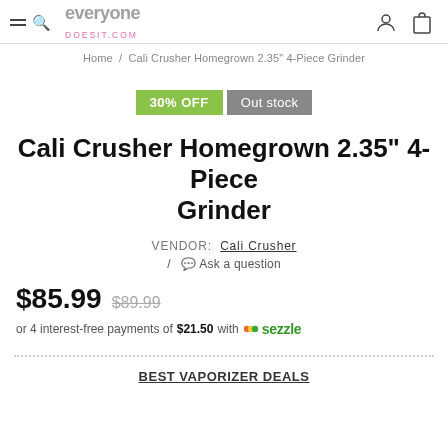everyoneDOESIT.COM
Home / Cali Crusher Homegrown 2.35" 4-Piece Grinder
30% OFF  Out stock
Cali Crusher Homegrown 2.35" 4-Piece Grinder
VENDOR: Cali Crusher
/ Ask a question
$85.99  $89.99
or 4 interest-free payments of $21.50 with sezzle
BEST VAPORIZER DEALS